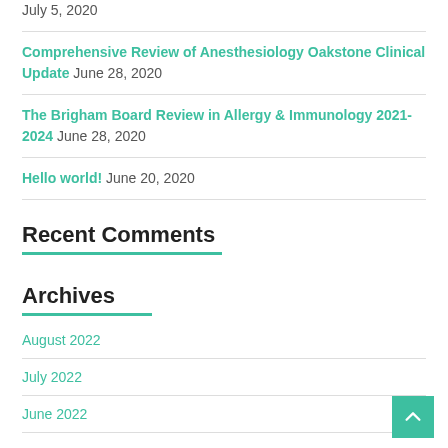Comprehensive Review of Anesthesiology Oakstone Clinical Update June 28, 2020
The Brigham Board Review in Allergy & Immunology 2021-2024 June 28, 2020
Hello world! June 20, 2020
Recent Comments
Archives
August 2022
July 2022
June 2022